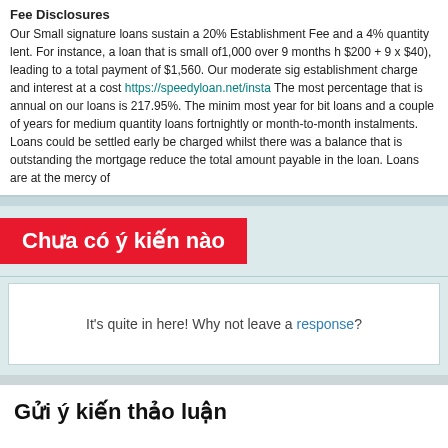Fee Disclosures
Our Small signature loans sustain a 20% Establishment Fee and a 4% quantity lent. For instance, a loan that is small of1,000 over 9 months h $200 + 9 x $40), leading to a total payment of $1,560. Our moderate sig establishment charge and interest at a cost https://speedyloan.net/insta The most percentage that is annual on our loans is 217.95%. The minim most year for bit loans and a couple of years for medium quantity loans fortnightly or month-to-month instalments. Loans could be settled early be charged whilst there was a balance that is outstanding the mortgage reduce the total amount payable in the loan. Loans are at the mercy of
Chưa có ý kiến nào
It's quite in here! Why not leave a response?
Gửi ý kiến thảo luận